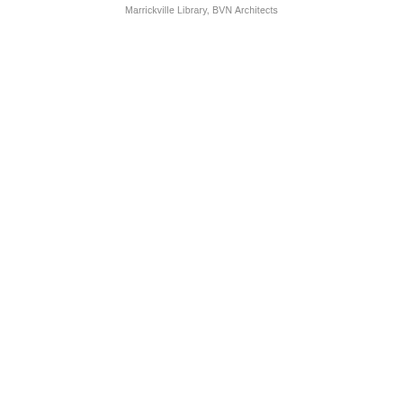Marrickville Library, BVN Architects